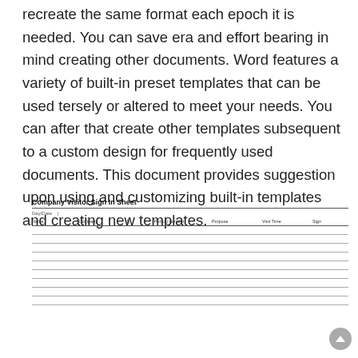recreate the same format each epoch it is needed. You can save era and effort bearing in mind creating other documents. Word features a variety of built-in preset templates that can be used tersely or altered to meet your needs. You can after that create other templates subsequent to a custom design for frequently used documents. This document provides suggestion upon using and customizing built-in templates and creating new templates.
| Name | Company | ID | Person to meet | Purpose | Visit Time | Sign |
| --- | --- | --- | --- | --- | --- | --- |
|  |  |  |  |  |  |  |
|  |  |  |  |  |  |  |
|  |  |  |  |  |  |  |
|  |  |  |  |  |  |  |
|  |  |  |  |  |  |  |
|  |  |  |  |  |  |  |
|  |  |  |  |  |  |  |
|  |  |  |  |  |  |  |
|  |  |  |  |  |  |  |